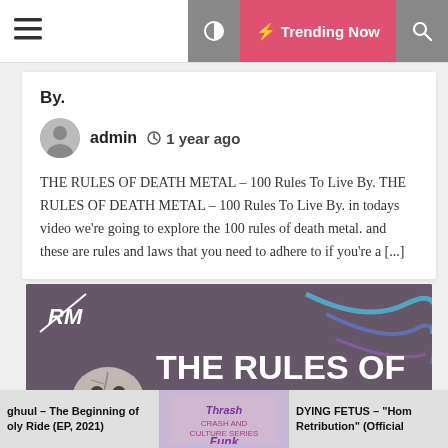Trending Now
By.
admin  1 year ago
THE RULES OF DEATH METAL – 100 Rules To Live By. THE RULES OF DEATH METAL – 100 Rules To Live By. in todays video we're going to explore the 100 rules of death metal. and these are rules and laws that you need to adhere to if you're a [...]
[Figure (photo): Featured image showing 'THE RULES OF DOOM' text on a dark purple/grey background with a skull graphic and swirling blue/purple design elements. RM logo in top left.]
ghuul – The Beginning of oly Ride (EP, 2021)
[Figure (logo): Thrash and Funk logo thumbnail]
DYING FETUS – "Hom Retribution" (Official